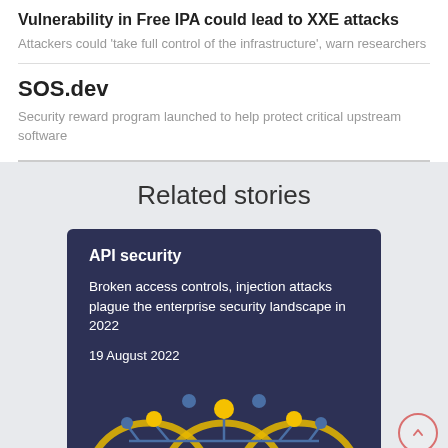Vulnerability in Free IPA could lead to XXE attacks
Attackers could 'take full control of the infrastructure', warn researchers
SOS.dev
Security reward program launched to help protect critical upstream software
Related stories
[Figure (screenshot): Card with dark navy background showing 'API security' category, headline 'Broken access controls, injection attacks plague the enterprise security landscape in 2022', date '19 August 2022', and an illustrated graphic of connected nodes at the bottom]
API security
Broken access controls, injection attacks plague the enterprise security landscape in 2022
19 August 2022